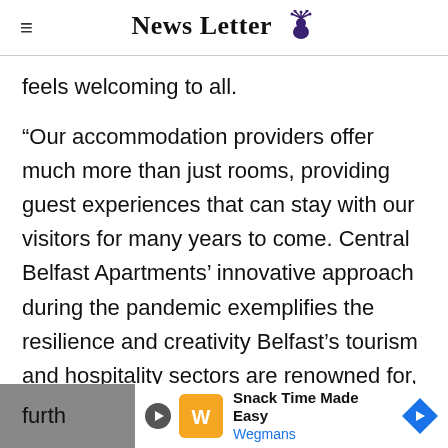News Letter
feels welcoming to all.
“Our accommodation providers offer much more than just rooms, providing guest experiences that can stay with our visitors for many years to come. Central Belfast Apartments’ innovative approach during the pandemic exemplifies the resilience and creativity Belfast’s tourism and hospitality sectors are renowned for, differentiating and furth
[Figure (other): Advertisement banner for Wegmans: Snack Time Made Easy]